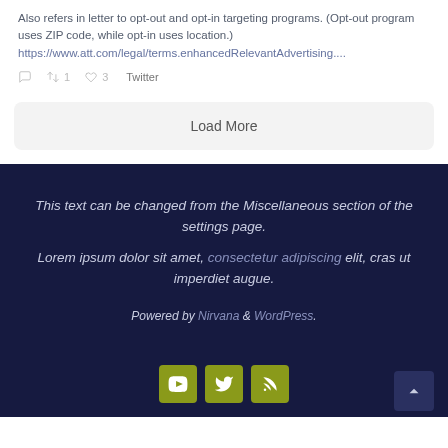Also refers in letter to opt-out and opt-in targeting programs. (Opt-out program uses ZIP code, while opt-in uses location.) https://www.att.com/legal/terms.enhancedRelevantAdvertising....
Load More
This text can be changed from the Miscellaneous section of the settings page.
Lorem ipsum dolor sit amet, consectetur adipiscing elit, cras ut imperdiet augue.
Powered by Nirvana & WordPress.
[Figure (other): Social media icon buttons (YouTube, Twitter, RSS) and a scroll-to-top button]